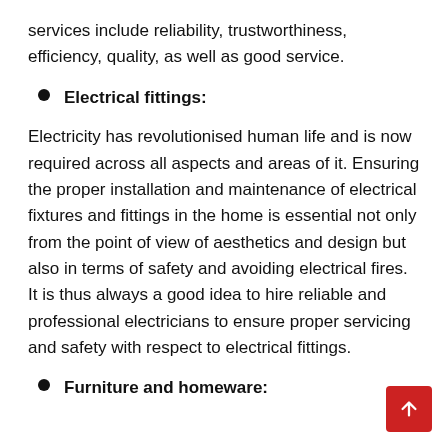services include reliability, trustworthiness, efficiency, quality, as well as good service.
Electrical fittings:
Electricity has revolutionised human life and is now required across all aspects and areas of it. Ensuring the proper installation and maintenance of electrical fixtures and fittings in the home is essential not only from the point of view of aesthetics and design but also in terms of safety and avoiding electrical fires. It is thus always a good idea to hire reliable and professional electricians to ensure proper servicing and safety with respect to electrical fittings.
Furniture and homeware: